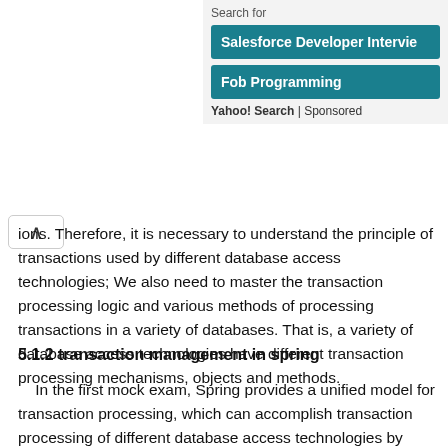Search for
Salesforce Developer Intervie
Fob Programming
Yahoo! Search | Sponsored
ions. Therefore, it is necessary to understand the principle of transactions used by different database access technologies; We also need to master the transaction processing logic and various methods of processing transactions in a variety of databases. That is, a variety of database access technologies have different transaction processing mechanisms, objects and methods.
5.1.2 transaction management in spring
In the first mock exam, Spring provides a unified model for transaction processing, which can accomplish transaction processing of different database access technologies by unified steps. It is equivalent to using the transaction processing mechanism of spring, which can complete both the transaction processing of mybatis accessing the database and the transaction processing of hibernate accessing the database.